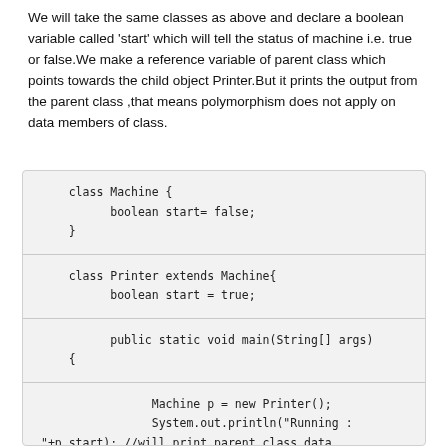We will take the same classes as above and declare a boolean variable called 'start' which will tell the status of machine i.e. true or false.We make a reference variable of parent class which points towards the child object Printer.But it prints the output from the parent class ,that means polymorphism does not apply on data members of class.
[Figure (screenshot): Code block showing Java class definitions: class Machine with boolean start=false, class Printer extends Machine with boolean start=true, and a main method that creates Machine p = new Printer() and prints p.start with a comment that it will print parent class data member.]